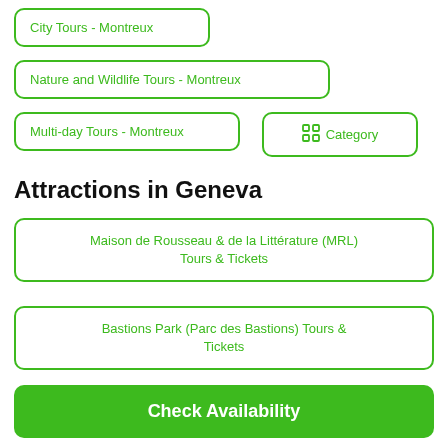City Tours - Montreux
Nature and Wildlife Tours - Montreux
Multi-day Tours - Montreux
Category
Attractions in Geneva
Maison de Rousseau & de la Littérature (MRL) Tours & Tickets
Bastions Park (Parc des Bastions) Tours & Tickets
Check Availability